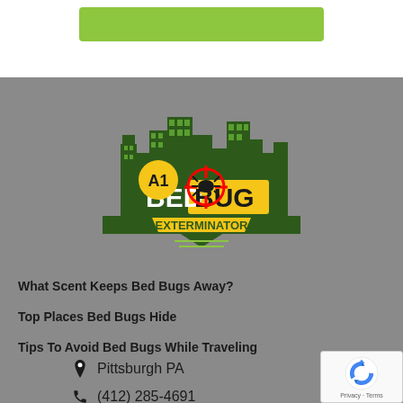[Figure (logo): A1 Bed Bug Exterminator logo with green city skyline silhouette, yellow badge with A1, red crosshair targeting a bed bug, and yellow banner with BED BUG text, EXTERMINATOR text below]
What Scent Keeps Bed Bugs Away?
Top Places Bed Bugs Hide
Tips To Avoid Bed Bugs While Traveling
Pittsburgh PA
(412) 285-4691